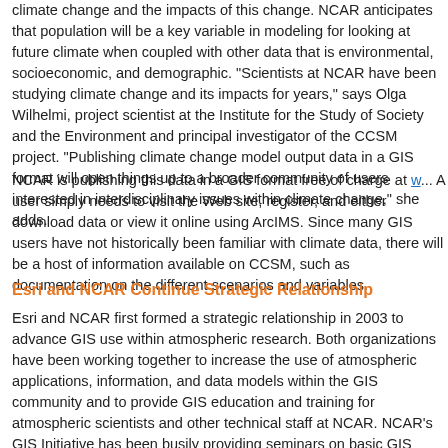climate change and the impacts of this change. NCAR anticipates that population will be a key variable in modeling for looking at future climate when coupled with other data that is environmental, socioeconomic, and demographic. "Scientists at NCAR have been studying climate change and its impacts for years," says Olga Wilhelmi, project scientist at the Institute for the Study of Society and the Environment and principal investigator of the CCSM project. "Publishing climate change model output data in a GIS format will open things up to a broader community of users interested in interdisciplinary issues within climate change," she adds.
NCAR is publishing this data in a GIS format free of charge at w... A user simply needs to visit the Web site, register, and either download data or view it online using ArcIMS. Since many GIS users have not historically been familiar with climate data, there will be a host of information available on CCSM, such as documentation on the different scenarios and variables.
Esri and NCAR Continue Strategic Relationship
Esri and NCAR first formed a strategic relationship in 2003 to advance GIS use within atmospheric research. Both organizations have been working together to increase the use of atmospheric applications, information, and data models within the GIS community and to provide GIS education and training for atmospheric scientists and other technical staff at NCAR. NCAR's GIS Initiative has been busily providing seminars on basic GIS technology and concepts and how to use ArcGIS Desktop, ArcIMS, ArcSDE. Over 100 employees have attended these sessions, and more seminars are being added to accommodate the changing population of scientists.